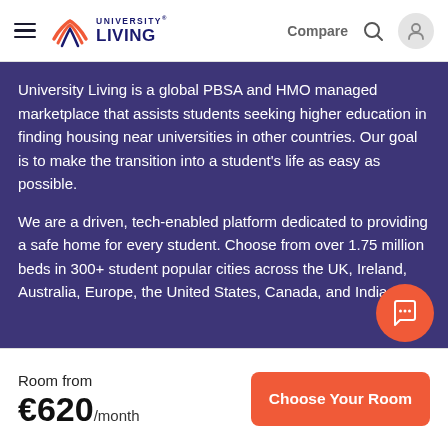University Living — Compare
University Living is a global PBSA and HMO managed marketplace that assists students seeking higher education in finding housing near universities in other countries. Our goal is to make the transition into a student's life as easy as possible.
We are a driven, tech-enabled platform dedicated to providing a safe home for every student. Choose from over 1.75 million beds in 300+ student popular cities across the UK, Ireland, Australia, Europe, the United States, Canada, and India.
Services
Accommodation
Guarantor
Room from
€620/month
Choose Your Room